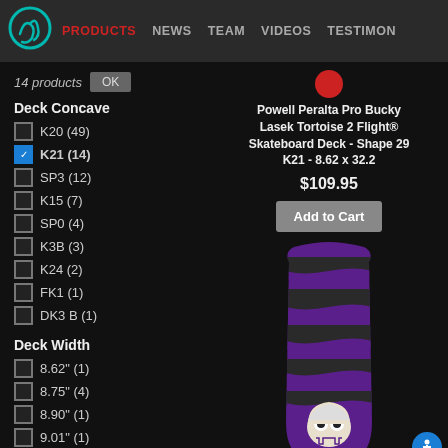PRODUCTS | NEWS | TEAM | VIDEOS | TESTIMONIALS
14 products
Deck Concave
K20 (49)
K21 (14) [checked]
SP3 (12)
K15 (7)
SP0 (4)
K3B (3)
K24 (2)
FK1 (1)
DK3 B (1)
Deck Width
8.62" (1)
8.75" (4)
8.90" (1)
9.01" (1)
9.05" (4)
9.13" (2)
Powell Peralta Pro Bucky Lasek Tortoise 2 Flight® Skateboard Deck - Shape 29 K21 - 8.62 x 32.2
$109.95
Add to Cart
[Figure (photo): Purple and black striped skateboard deck with skull illustration at the bottom]